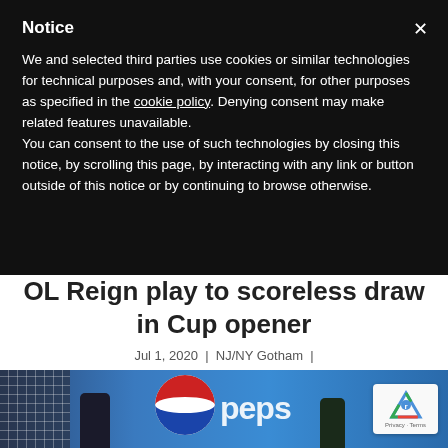Notice
We and selected third parties use cookies or similar technologies for technical purposes and, with your consent, for other purposes as specified in the cookie policy. Denying consent may make related features unavailable.
You can consent to the use of such technologies by closing this notice, by scrolling this page, by interacting with any link or button outside of this notice or by continuing to browse otherwise.
OL Reign play to scoreless draw in Cup opener
Jul 1, 2020  |  NJ/NY Gotham  |
[Figure (photo): Photo of a soccer/football scene with goal net on the left, players in the foreground, and a large Pepsi advertisement banner in the background]